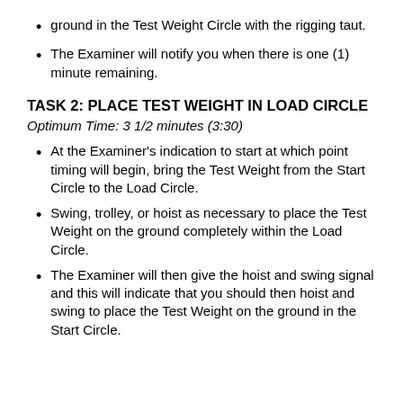ground in the Test Weight Circle with the rigging taut.
The Examiner will notify you when there is one (1) minute remaining.
TASK 2: PLACE TEST WEIGHT IN LOAD CIRCLE
Optimum Time: 3 1/2 minutes (3:30)
At the Examiner's indication to start at which point timing will begin, bring the Test Weight from the Start Circle to the Load Circle.
Swing, trolley, or hoist as necessary to place the Test Weight on the ground completely within the Load Circle.
The Examiner will then give the hoist and swing signal and this will indicate that you should then hoist and swing to place the Test Weight on the ground in the Start Circle.